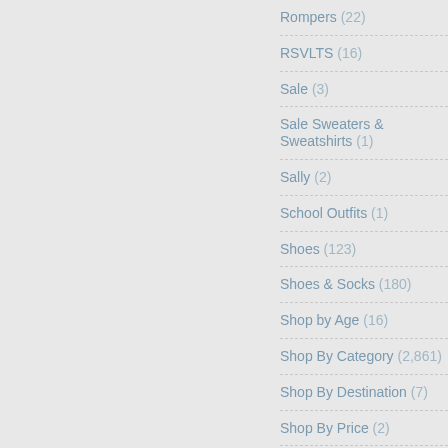Rompers (22)
RSVLTS (16)
Sale (3)
Sale Sweaters & Sweatshirts (1)
Sally (2)
School Outfits (1)
Shoes (123)
Shoes & Socks (180)
Shop by Age (16)
Shop By Category (2,861)
Shop By Destination (7)
Shop By Price (2)
shopDisney (21,640)
shopDisney | Official Site for
Disney Merchandise (22)